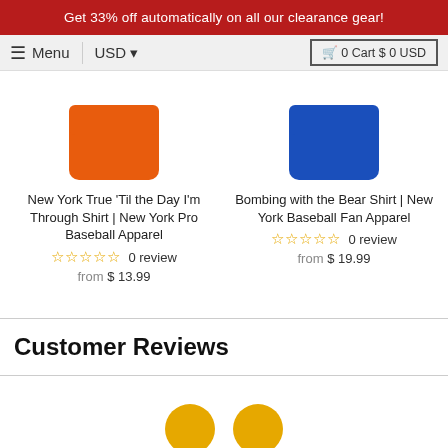Get 33% off automatically on all our clearance gear!
Menu | USD | 0 Cart $ 0 USD
New York True 'Til the Day I'm Through Shirt | New York Pro Baseball Apparel
☆☆☆☆☆ 0 review
from $ 13.99
Bombing with the Bear Shirt | New York Baseball Fan Apparel
☆☆☆☆☆ 0 review
from $ 19.99
Customer Reviews